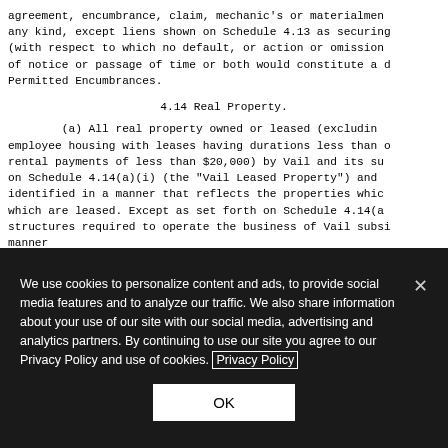agreement, encumbrance, claim, mechanic's or materialmen's lien of any kind, except liens shown on Schedule 4.13 as securing Funded Debt (with respect to which no default, or action or omission that with giving of notice or passage of time or both would constitute a default) or Permitted Encumbrances.
4.14 Real Property.
(a) All real property owned or leased (excluding employee housing with leases having durations less than one year or rental payments of less than $20,000) by Vail and its subsidiaries on Schedule 4.14(a)(i) (the "Vail Leased Property") and shall be identified in a manner that reflects the properties which are owned and which are leased. Except as set forth on Schedule 4.14(a) all structures required to operate the business of Vail subsidiaries manner
We use cookies to personalize content and ads, to provide social media features and to analyze our traffic. We also share information about your use of our site with our social media, advertising and analytics partners. By continuing to use our site you agree to our Privacy Policy and use of cookies. Privacy Policy